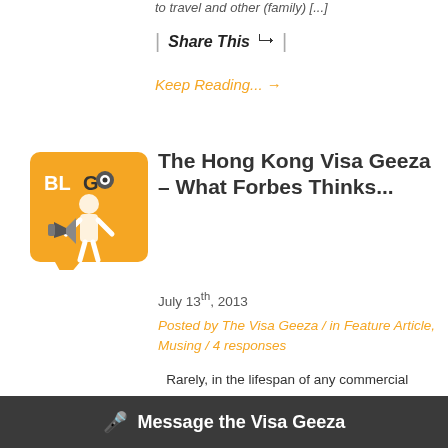to travel and other (family) [...]
Share This
Keep Reading... →
[Figure (illustration): Orange blog icon with a figure holding a megaphone, labeled BLOG]
The Hong Kong Visa Geeza – What Forbes Thinks...
July 13th, 2013
Posted by The Visa Geeza / in Feature Article, Musing / 4 responses
Rarely, in the lifespan of any commercial enterprise, do you have the privilege of learning that the hypothesis behind the configuration of your carefully developed business model was, after all, absolutely spot on. Especially in a very public way. Consequently, it came as a great surprise to me [...]
Message the Visa Geeza